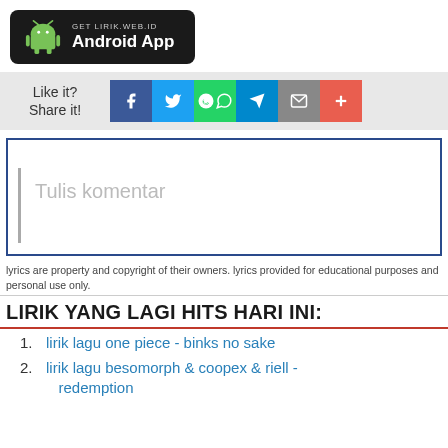[Figure (logo): Android app banner: black rounded rectangle with Android robot icon and text 'GET LIRIK.WEB.ID Android App']
[Figure (infographic): Social share bar with 'Like it? Share it!' text and icons for Facebook (blue), Twitter (light blue), WhatsApp (green), Telegram (blue), Email (gray), Plus (orange-red)]
Tulis komentar
lyrics are property and copyright of their owners. lyrics provided for educational purposes and personal use only.
LIRIK YANG LAGI HITS HARI INI:
lirik lagu one piece - binks no sake
lirik lagu besomorph & coopex & riell - redemption